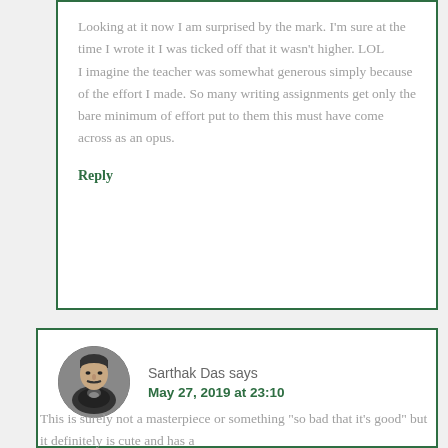Looking at it now I am surprised by the mark. I’m sure at the time I wrote it I was ticked off that it wasn’t higher. LOL
I imagine the teacher was somewhat generous simply because of the effort I made. So many writing assignments get only the bare minimum of effort put to them this must have come across as an opus.
Reply
Sarthak Das says
May 27, 2019 at 23:10
This is surely not a masterpiece or something “so bad that it’s good” but it definitely is cute and has a